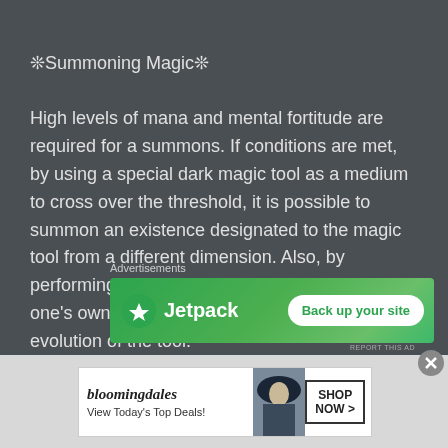❊Summoning Magic❊
High levels of mana and mental fortitude are required for a summons. If conditions are met, by using a special dark magic tool as a medium to cross over the threshold, it is possible to summon an existence designated to the magic tool from a different dimension. Also, by performing a naming ceremony and consuming one's own mana it is possible to cause a further evolution of the tool.
[Figure (other): Jetpack advertisement banner with green background, Jetpack logo with lightning bolt icon, and 'Back up your site' call-to-action button]
[Figure (other): Bloomingdales advertisement with brand name, 'View Today's Top Deals!' text, woman with hat, and 'SHOP NOW >' button]